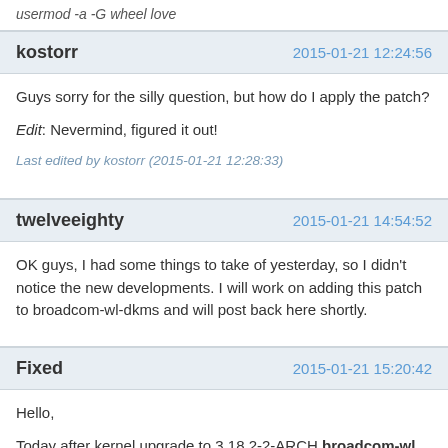usermod -a -G wheel love
kostorr   2015-01-21 12:24:56
Guys sorry for the silly question, but how do I apply the patch?

Edit: Nevermind, figured it out!

Last edited by kostorr (2015-01-21 12:28:33)
twelveeighty   2015-01-21 14:54:52
OK guys, I had some things to take of yesterday, so I didn't notice the new developments. I will work on adding this patch to broadcom-wl-dkms and will post back here shortly.
Fixed   2015-01-21 15:20:42
Hello,

Today after kernel upgrade to 3.18.2-2-ARCH broadcom-wl from AUR stopped to work.

I followed the instructions posted by  acssilva on